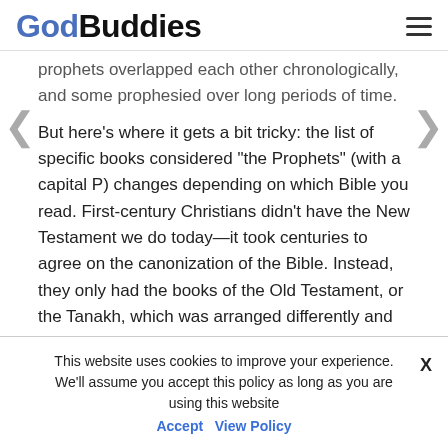GodBuddies
prophets overlapped each other chronologically, and some prophesied over long periods of time.
But here's where it gets a bit tricky: the list of specific books considered "the Prophets" (with a capital P) changes depending on which Bible you read. First-century Christians didn't have the New Testament we do today—it took centuries to agree on the canonization of the Bible. Instead, they only had the books of the Old Testament, or the Tanakh, which was arranged differently and contained a section called Nevi'im (Hebrew for "Prophets") in the
This website uses cookies to improve your experience. We'll assume you accept this policy as long as you are using this website  Accept  View Policy